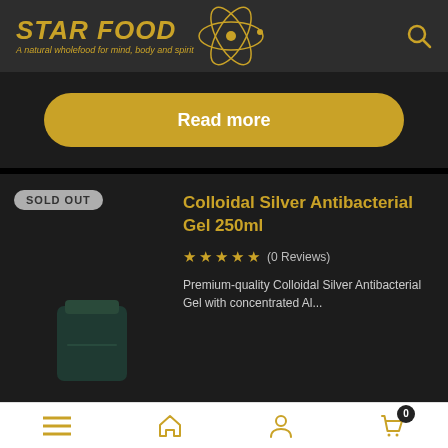STAR FOOD – A natural wholefood for mind, body and spirit
Read more
Colloidal Silver Antibacterial Gel 250ml
★ ★ ★ ★ ★ (0 Reviews)
Premium-quality Colloidal Silver Antibacterial Gel with...
Navigation: Menu | Home | Account | Cart (0)